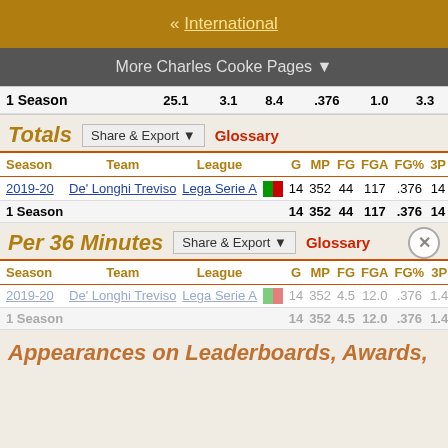« International
More Charles Cooke Pages ▼
| 1 Season |  |  |  | 25.1 | 3.1 | 8.4 | .376 | 1.0 | 3.3 |
| --- | --- | --- | --- | --- | --- | --- | --- | --- | --- |
Totals   Share & Export ▼   Glossary
| Season | Team | League |  | G | MP | FG | FGA | FG% | 3P | 3PA |
| --- | --- | --- | --- | --- | --- | --- | --- | --- | --- | --- |
| 2019-20 | De' Longhi Treviso | Lega Serie A | [flags] | 14 | 352 | 44 | 117 | .376 | 14 | 46 |
| 1 Season |  |  |  | 14 | 352 | 44 | 117 | .376 | 14 | 46 |
Per 36 Minutes   Share & Export ▼   Glossary
| Season | Team | League |  | G | MP | FG | FGA | FG% | 3P |
| --- | --- | --- | --- | --- | --- | --- | --- | --- | --- |
| 2019-20 | De' Longhi Treviso | Lega Serie A | [flags] | 14 | 352 | 4.5 | 12.0 | .376 | 1.4 | 4.7 |
| 1 Season |  |  |  | 14 | 352 | 4.5 | 12.0 | .376 | 1.4 | 4.7 |
Appearances on Leaderboards, Awards,